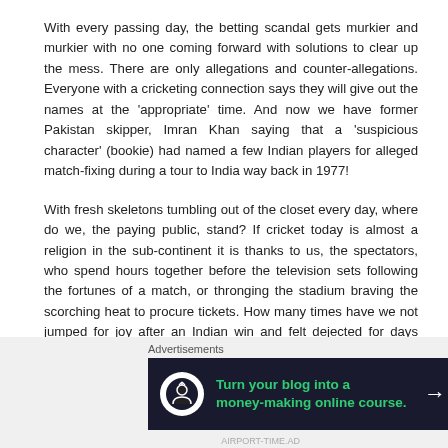With every passing day, the betting scandal gets murkier and murkier with no one coming forward with solutions to clear up the mess. There are only allegations and counter-allegations. Everyone with a cricketing connection says they will give out the names at the ‘appropriate’ time. And now we have former Pakistan skipper, Imran Khan saying that a ‘suspicious character’ (bookie) had named a few Indian players for alleged match-fixing during a tour to India way back in 1977!
With fresh skeletons tumbling out of the closet every day, where do we, the paying public, stand? If cricket today is almost a religion in the sub-continent it is thanks to us, the spectators, who spend hours together before the television sets following the fortunes of a match, or thronging the stadium braving the scorching heat to procure tickets. How many times have we not jumped for joy after an Indian win and felt dejected for days after India has lost a match? The instances are countless. Now comes the numbing blow that those losses may have been manipulated!
When Hansie Cronje’s name first cropped up in the match-fixing
Advertisements
[Figure (infographic): Advertisement banner: dark navy background with white circle icon showing a person/tree logo, green bold text reading 'Turn your blog into a money-making online course.' and a white arrow pointing right.]